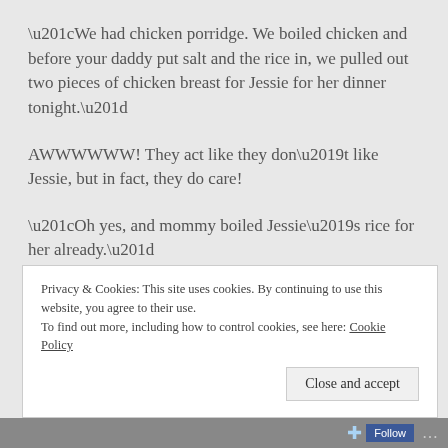“We had chicken porridge.  We boiled chicken and before your daddy put salt and the rice in, we pulled out two pieces of chicken breast for Jessie for her dinner tonight.”
AWWWWWW!  They act like they don’t like Jessie, but in fact, they do care!
“Oh yes, and mommy boiled Jessie’s rice for her already.”
Thanks mommy!  Jessie is lucky to have grandparents
Privacy & Cookies: This site uses cookies. By continuing to use this website, you agree to their use.
To find out more, including how to control cookies, see here: Cookie Policy
Close and accept